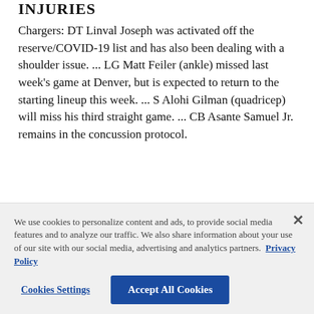INJURIES
Chargers: DT Linval Joseph was activated off the reserve/COVID-19 list and has also been dealing with a shoulder issue. ... LG Matt Feiler (ankle) missed last week's game at Denver, but is expected to return to the starting lineup this week. ... S Alohi Gilman (quadricep) will miss his third straight game. ... CB Asante Samuel Jr. remains in the concussion protocol.
Bengals: Offensive linemen Riley Reiff and Trey Hopkins suffered ankle injuries in last Sunday's game
We use cookies to personalize content and ads, to provide social media features and to analyze our traffic. We also share information about your use of our site with our social media, advertising and analytics partners. Privacy Policy
Cookies Settings | Accept All Cookies